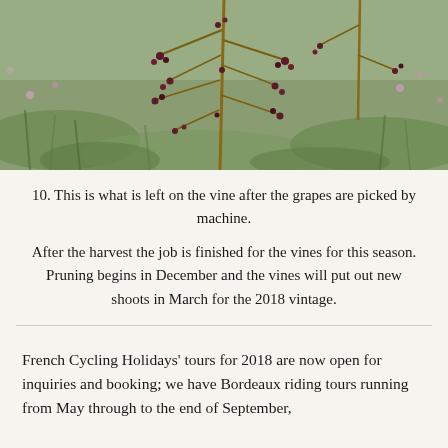[Figure (photo): Close-up photograph of a grapevine stem with remaining small clusters and berries after machine harvesting, set against a green grassy background.]
10. This is what is left on the vine after the grapes are picked by machine.
After the harvest the job is finished for the vines for this season. Pruning begins in December and the vines will put out new shoots in March for the 2018 vintage.
French Cycling Holidays' tours for 2018 are now open for inquiries and booking; we have Bordeaux riding tours running from May through to the end of September,